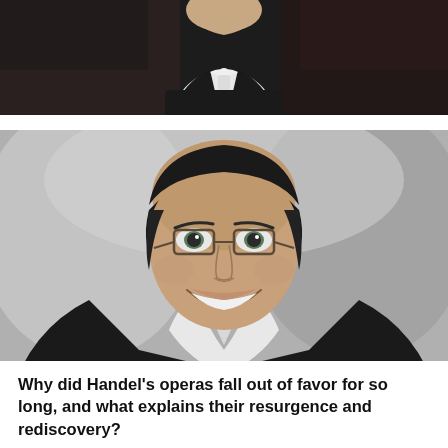[Figure (photo): Partial black and white photo of a man in formal attire (tuxedo with white bow tie), cropped at the top of the page showing only the lower face and upper torso.]
[Figure (photo): Black and white portrait photo of a smiling young man with short dark hair and rectangular glasses, wearing a dark blazer with an open-collar white shirt.]
Why did Handel's operas fall out of favor for so long, and what explains their resurgence and rediscovery?